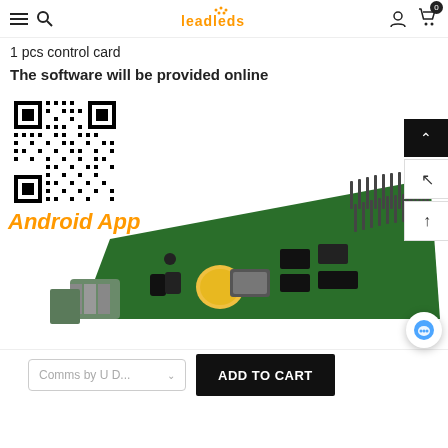leadleds navigation header with hamburger, search, logo, user, cart
1 pcs control card
The software will be provided online
[Figure (other): QR code for Android App download with orange 'Android App' label below it, and a green PCB control card circuit board photo]
Comms by U D... dropdown selector and ADD TO CART button